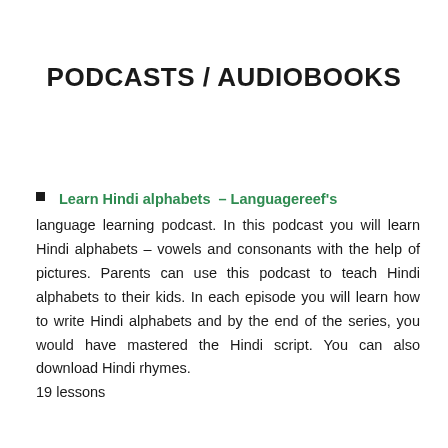PODCASTS / AUDIOBOOKS
Learn Hindi alphabets – Languagereef's language learning podcast. In this podcast you will learn Hindi alphabets – vowels and consonants with the help of pictures. Parents can use this podcast to teach Hindi alphabets to their kids. In each episode you will learn how to write Hindi alphabets and by the end of the series, you would have mastered the Hindi script. You can also download Hindi rhymes. 19 lessons